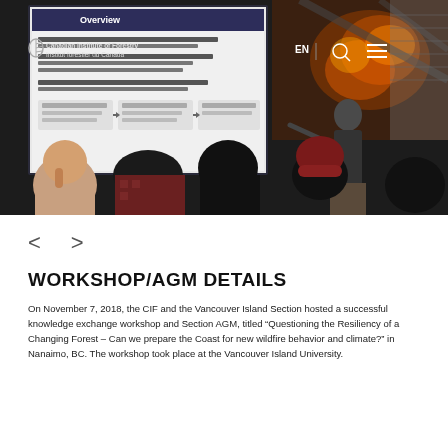[Figure (photo): A presentation/workshop scene showing a speaker at the front of a room pointing at a projection screen displaying a slide titled 'Overview' about fire behaviour. Audience members are seen from behind. A Canadian Institute of Forestry / Institut forestier du Canada logo and navigation bar (EN, search, menu icons) are visible as an overlay.]
< >
WORKSHOP/AGM DETAILS
On November 7, 2018, the CIF and the Vancouver Island Section hosted a successful knowledge exchange workshop and Section AGM, titled “Questioning the Resiliency of a Changing Forest – Can we prepare the Coast for new wildfire behavior and climate?” in Nanaimo, BC. The workshop took place at the Vancouver Island University.